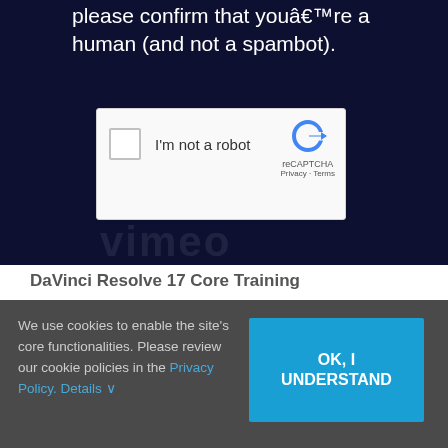please confirm that youâ€™re a human (and not a spambot).
[Figure (screenshot): reCAPTCHA widget with checkbox labeled 'I'm not a robot' and reCAPTCHA logo with Privacy and Terms links]
[Figure (logo): Vimeo logo watermark in dark background]
DaVinci Resolve 17 Core Training
with Steve Martin
Start here. In this official Blackmagic Design
We use cookies to enable the site’s core functionalities. Please review our cookie policies in the Privacy Policy. Details ›
OK, I UNDERSTAND